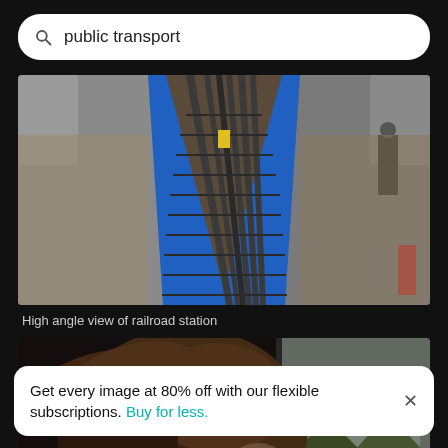public transport
[Figure (photo): High angle aerial view of railroad station tracks with blue platform edges, perspective view looking down the tracks]
High angle view of railroad station
[Figure (photo): Back of a woman's head with windswept hair, looking out at a green landscape through a window, blurred background]
Get every image at 80% off with our flexible subscriptions. Buy for less.